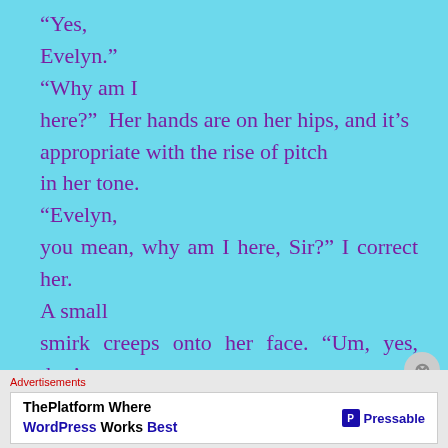“Yes, Evelyn.” “Why am I here?” Her hands are on her hips, and it’s appropriate with the rise of pitch in her tone. “Evelyn, you mean, why am I here, Sir?” I correct her. A small smirk creeps onto her face. “Um, yes, that’s right.” Her sarcasm isn’t lost on me. “Why am I here, Sir?” “Well
Advertisements
ThePlatform Where WordPress Works Best | Pressable